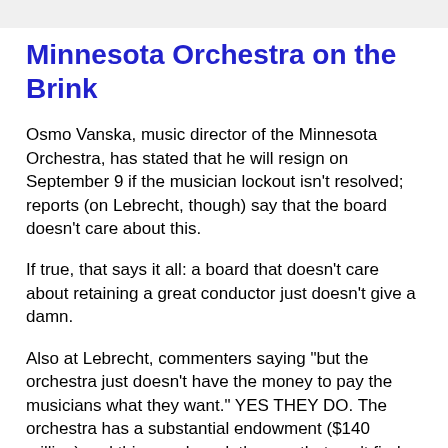Minnesota Orchestra on the Brink
Osmo Vanska, music director of the Minnesota Orchestra, has stated that he will resign on September 9 if the musician lockout isn't resolved; reports (on Lebrecht, though) say that the board doesn't care about this.
If true, that says it all: a board that doesn't care about retaining a great conductor just doesn't give a damn.
Also at Lebrecht, commenters saying "but the orchestra just doesn't have the money to pay the musicians what they want." YES THEY DO. The orchestra has a substantial endowment ($140 million) and this very board, the one that can't find money for salaries, was able to raise around $45 million for renovations to the orchestra's concert hall.
As always, Bill Eddins has a few useful things to say. So does Drew McManus.